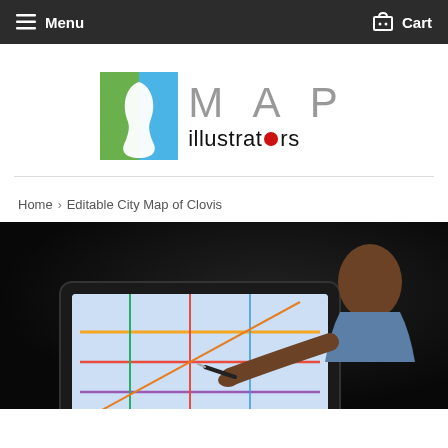Menu   Cart
[Figure (logo): MAP illustrators logo with green and blue face silhouette icon and stylized text]
Home › Editable City Map of Clovis
[Figure (photo): Person using a stylus pen on a graphics tablet to edit a colorful city map displayed on screen, in a dark studio setting]